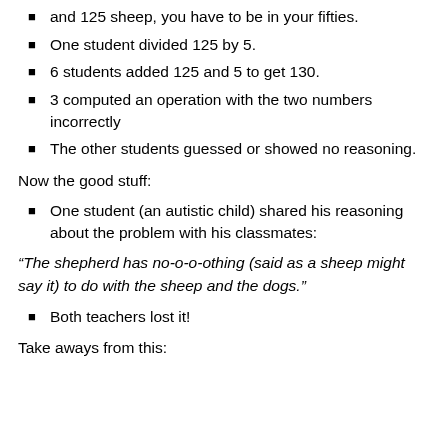and 125 sheep, you have to be in your fifties.
One student divided 125 by 5.
6 students added 125 and 5 to get 130.
3 computed an operation with the two numbers incorrectly
The other students guessed or showed no reasoning.
Now the good stuff:
One student (an autistic child) shared his reasoning about the problem with his classmates:
“The shepherd has no-o-o-othing (said as a sheep might say it) to do with the sheep and the dogs.”
Both teachers lost it!
Take aways from this: